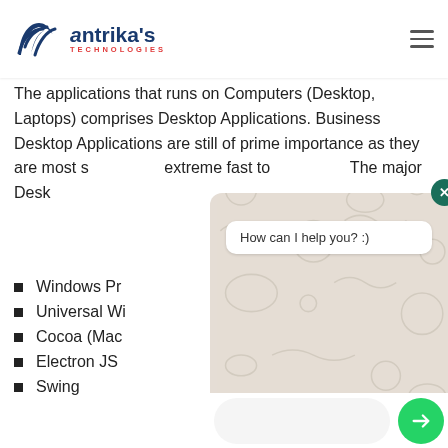Antrika's Technologies
Application
The applications that runs on Computers (Desktop, Laptops) comprises Desktop Applications. Business Desktop Applications are still of prime importance as they are most s... extreme fast to... The major Desk...
Windows Pr...
Universal Wi...
Cocoa (Mac...
Electron JS
Swing
[Figure (screenshot): WhatsApp chat widget overlay showing a chat interface with 'How can I help you? :)' message bubble, a close button, input bar, and send button on a patterned background.]